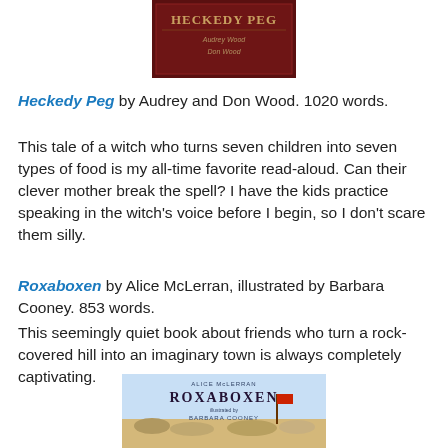[Figure (photo): Book cover of Heckedy Peg by Audrey Wood and Don Wood, dark red/maroon background with title text]
Heckedy Peg by Audrey and Don Wood. 1020 words.
This tale of a witch who turns seven children into seven types of food is my all-time favorite read-aloud. Can their clever mother break the spell? I have the kids practice speaking in the witch's voice before I begin, so I don't scare them silly.
Roxaboxen by Alice McLerran, illustrated by Barbara Cooney. 853 words.
This seemingly quiet book about friends who turn a rock-covered hill into an imaginary town is always completely captivating.
[Figure (photo): Book cover of Roxaboxen by Alice McLerran, illustrated by Barbara Cooney, showing desert scene with flag]